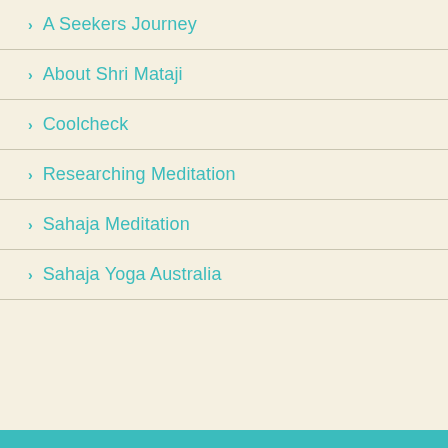A Seekers Journey
About Shri Mataji
Coolcheck
Researching Meditation
Sahaja Meditation
Sahaja Yoga Australia